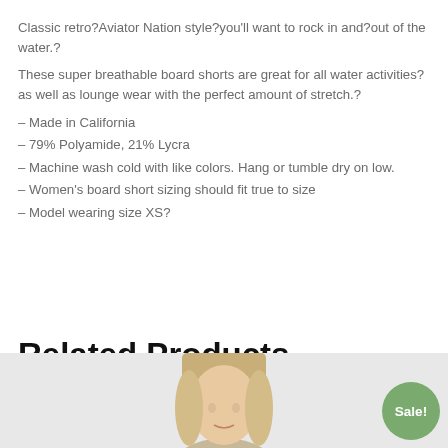Classic retro?Aviator Nation style?you’ll want to rock in and?out of the water.?
These super breathable board shorts are great for all water activities?as well as lounge wear with the perfect amount of stretch.?
– Made in California
– 79% Polyamide, 21% Lycra
– Machine wash cold with like colors. Hang or tumble dry on low.
– Women’s board short sizing should fit true to size
– Model wearing size XS?
Related Products
[Figure (photo): Photo of a blonde woman model, partially visible at bottom of page, with a green Sale! badge overlay in bottom right corner.]